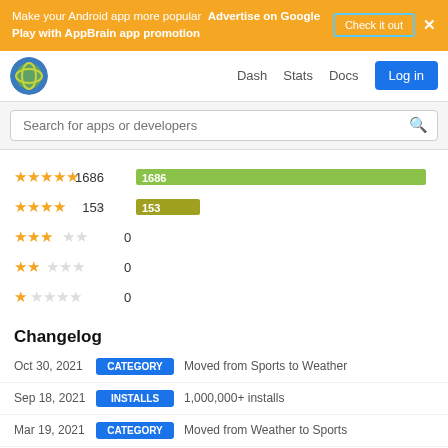[Figure (infographic): Golden yellow advertisement banner: 'Make your Android app more popular  Advertise on Google Play with AppBrain app promotion' with 'Check it out' button and close X]
AppBrain navigation bar with logo, Dash, Stats, Docs links and Log in button
Search for apps or developers
[Figure (bar-chart): Star ratings distribution]
Changelog
Oct 30, 2021  CATEGORY  Moved from Sports to Weather
Sep 18, 2021  INSTALLS  1,000,000+ installs
Mar 19, 2021  CATEGORY  Moved from Weather to Sports
Mar 5, 2021  CATEGORY  Moved from Sports to Weather